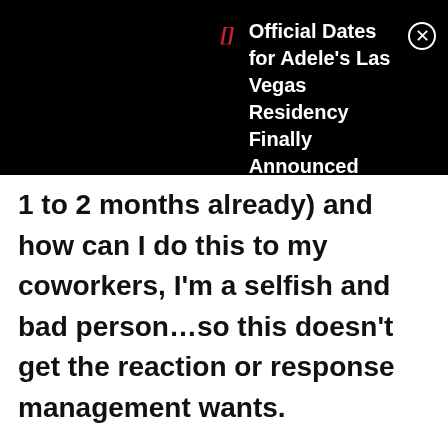[Figure (screenshot): Mobile notification banner with black background showing text: 'Official Dates for Adele's Las Vegas Residency Finally Announced' with a red bookmark icon and a close (X) button]
1 to 2 months already) and how can I do this to my coworkers, I'm a selfish and bad person…so this doesn't get the reaction or response management wants.

Now they bring out 'policy'. They tell me it's against company policy to quit on a Friday… I know this is bull but